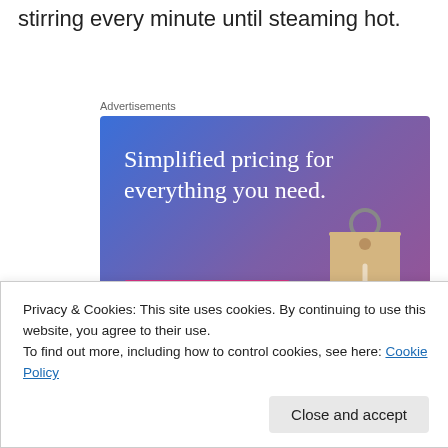stirring every minute until steaming hot.
Advertisements
[Figure (illustration): Advertisement banner with gradient blue-to-purple background showing text 'Simplified pricing for everything you need.' with a pink 'Build Your Website' button and a tan price tag image on the right.]
Privacy & Cookies: This site uses cookies. By continuing to use this website, you agree to their use.
To find out more, including how to control cookies, see here: Cookie Policy